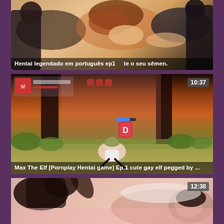[Figure (screenshot): Video thumbnail 1: Anime hentai scene with characters, title overlay in Portuguese about hentai dubbed in Portuguese ep1]
[Figure (screenshot): Video thumbnail 2: Anime hentai game screenshot 'Max The Elf [Pornplay Hentai game] Ep.1 cute gay elf pegged by ...' with 10:37 duration badge]
[Figure (screenshot): Video thumbnail 3: Live action adult video thumbnail with 12:38 duration badge]